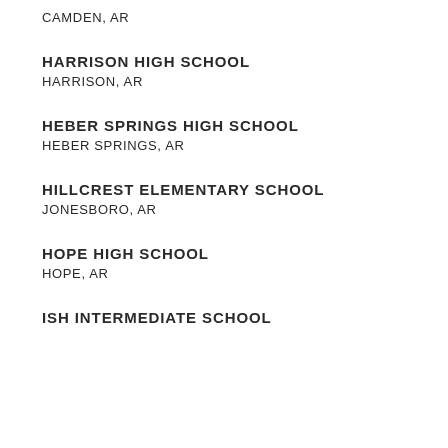CAMDEN, AR
HARRISON HIGH SCHOOL
HARRISON, AR
HEBER SPRINGS HIGH SCHOOL
HEBER SPRINGS, AR
HILLCREST ELEMENTARY SCHOOL
JONESBORO, AR
HOPE HIGH SCHOOL
HOPE, AR
ISH INTERMEDIATE SCHOOL